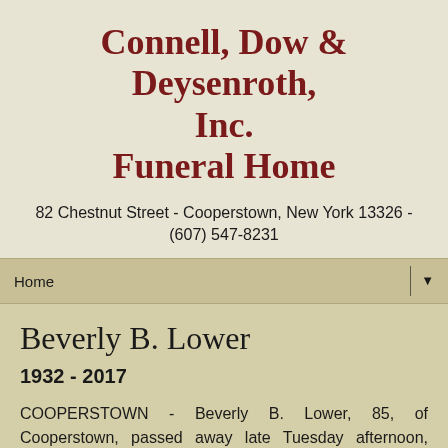Connell, Dow & Deysenroth, Inc. Funeral Home
82 Chestnut Street - Cooperstown, New York 13326 - (607) 547-8231
Home ▼
Beverly B. Lower
1932 - 2017
COOPERSTOWN - Beverly B. Lower, 85, of Cooperstown, passed away late Tuesday afternoon, September 26, 2017, at Focus Rehabilitation and Nursing Center at Otsego.